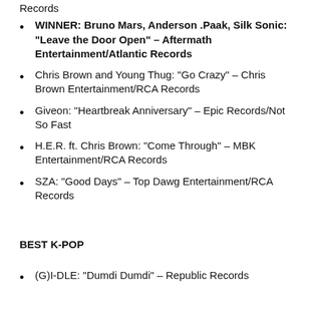Records
WINNER: Bruno Mars, Anderson .Paak, Silk Sonic: “Leave the Door Open” – Aftermath Entertainment/Atlantic Records
Chris Brown and Young Thug: “Go Crazy” – Chris Brown Entertainment/RCA Records
Giveon: “Heartbreak Anniversary” – Epic Records/Not So Fast
H.E.R. ft. Chris Brown: “Come Through” – MBK Entertainment/RCA Records
SZA: “Good Days” – Top Dawg Entertainment/RCA Records
BEST K-POP
(G)I-DLE: “Dumdi Dumdi” – Republic Records